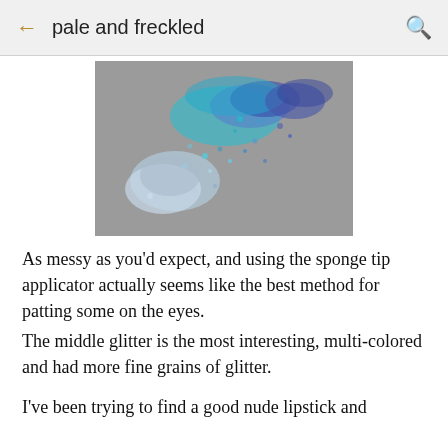pale and freckled
[Figure (photo): Blue and silver glitter scattered on a gray surface, showing chunky and fine glitter particles in teal, blue, and silver tones]
As messy as you'd expect, and using the sponge tip applicator actually seems like the best method for patting some on the eyes.
The middle glitter is the most interesting, multi-colored and had more fine grains of glitter.
I've been trying to find a good nude lipstick and